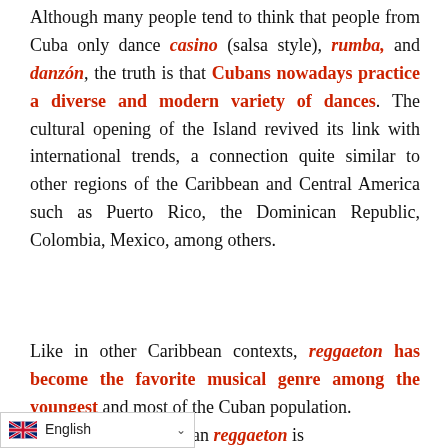Although many people tend to think that people from Cuba only dance casino (salsa style), rumba, and danzón, the truth is that Cubans nowadays practice a diverse and modern variety of dances. The cultural opening of the Island revived its link with international trends, a connection quite similar to other regions of the Caribbean and Central America such as Puerto Rico, the Dominican Republic, Colombia, Mexico, among others.
Like in other Caribbean contexts, reggaeton has become the favorite musical genre among the youngest and most of the Cuban population. Puerto Rican reggaeton is